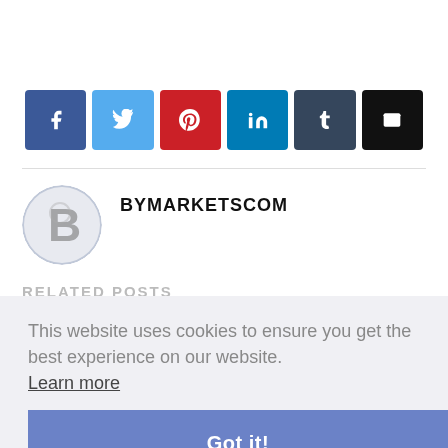[Figure (infographic): Row of social sharing buttons: Facebook (blue), Twitter (light blue), Pinterest (red), LinkedIn (teal), Tumblr (dark grey-blue), Email (black)]
BYMARKETSCOM
RELATED POSTS
This website uses cookies to ensure you get the best experience on our website. Learn more
Got it!